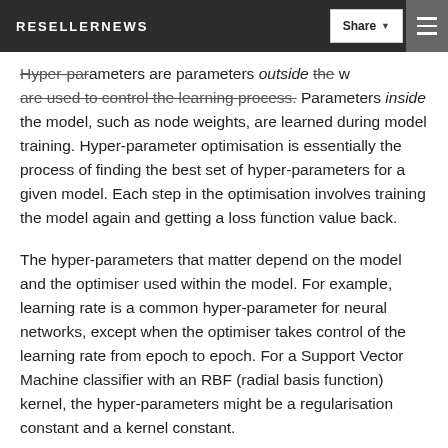RESELLERNEWS | Share | Menu
Hyper-parameters are parameters outside the model that are used to control the learning process. Parameters inside the model, such as node weights, are learned during model training. Hyper-parameter optimisation is essentially the process of finding the best set of hyper-parameters for a given model. Each step in the optimisation involves training the model again and getting a loss function value back.
The hyper-parameters that matter depend on the model and the optimiser used within the model. For example, learning rate is a common hyper-parameter for neural networks, except when the optimiser takes control of the learning rate from epoch to epoch. For a Support Vector Machine classifier with an RBF (radial basis function) kernel, the hyper-parameters might be a regularisation constant and a kernel constant.